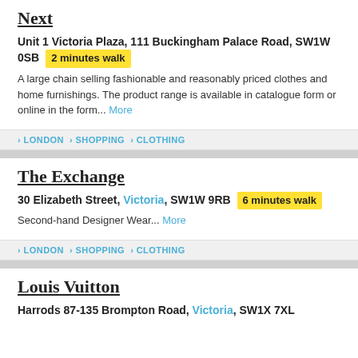Next
Unit 1 Victoria Plaza, 111 Buckingham Palace Road, SW1W 0SB  2 minutes walk
A large chain selling fashionable and reasonably priced clothes and home furnishings. The product range is available in catalogue form or online in the form... More
> LONDON > SHOPPING > CLOTHING
The Exchange
30 Elizabeth Street, Victoria, SW1W 9RB  6 minutes walk
Second-hand Designer Wear... More
> LONDON > SHOPPING > CLOTHING
Louis Vuitton
Harrods 87-135 Brompton Road, Victoria, SW1X 7XL